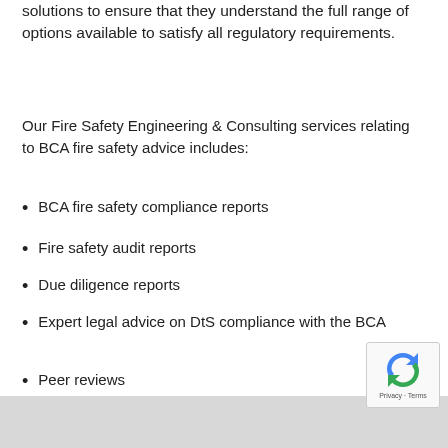solutions to ensure that they understand the full range of options available to satisfy all regulatory requirements.
Our Fire Safety Engineering & Consulting services relating to BCA fire safety advice includes:
BCA fire safety compliance reports
Fire safety audit reports
Due diligence reports
Expert legal advice on DtS compliance with the BCA
Peer reviews
Assistance with fire safety orders